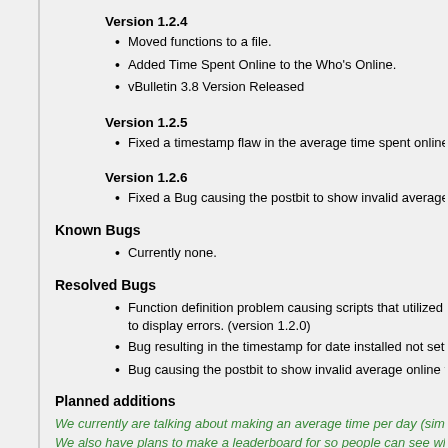Version 1.2.4
Moved functions to a file.
Added Time Spent Online to the Who's Online.
vBulletin 3.8 Version Released
Version 1.2.5
Fixed a timestamp flaw in the average time spent online function
Version 1.2.6
Fixed a Bug causing the postbit to show invalid average online ti
Known Bugs
Currently none.
Resolved Bugs
Function definition problem causing scripts that utilized the postbit factor to display errors. (version 1.2.0)
Bug resulting in the timestamp for date installed not setting correctly. (ve
Bug causing the postbit to show invalid average online times in vB 4.1.x.
Planned additions
We currently are talking about making an average time per day (similiar We also have plans to make a leaderboard for so people can see who s We are planning to add in more settings at some point to give quite a bit
Support